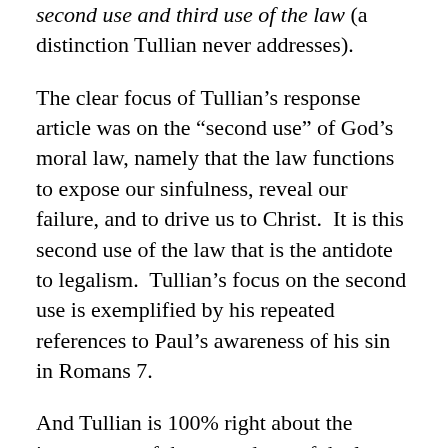second use and third use of the law (a distinction Tullian never addresses).
The clear focus of Tullian's response article was on the “second use” of God’s moral law, namely that the law functions to expose our sinfulness, reveal our failure, and to drive us to Christ.  It is this second use of the law that is the antidote to legalism.  Tullian’s focus on the second use is exemplified by his repeated references to Paul’s awareness of his sin in Romans 7.
And Tullian is 100% right about the importance of the second use of the law.  It is critical to a